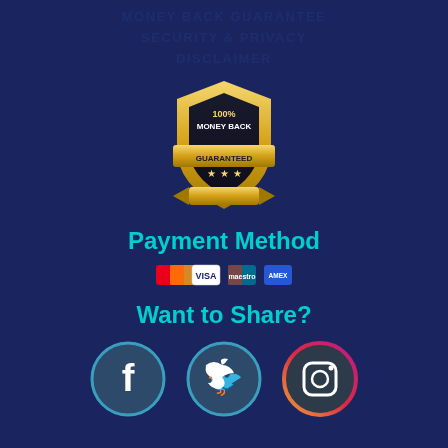MONEY BACK GUARANTEE
SECURITY & PRIVACY
DISCLAIMER
[Figure (illustration): 100% Money Back Guaranteed shield badge in gold and black]
Payment Method
[Figure (illustration): Payment method icons: Mastercard, Visa, Maestro, American Express]
Want to Share?
[Figure (illustration): Social media icons: Facebook, Twitter, Instagram]